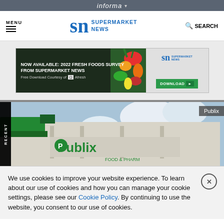informa
MENU | SN SUPERMARKET NEWS | SEARCH
[Figure (screenshot): Advertisement banner: NOW AVAILABLE: 2022 FRESH FOODS SURVEY FROM SUPERMARKET NEWS - Free Download Courtesy of Afresh. SN Supermarket News logo and DOWNLOAD button on right.]
[Figure (photo): Exterior photo of a Publix supermarket building with green canopy and Publix Food & Pharmacy signage under a blue sky. 'Publix' label in top right corner. 'RECENT' tab on left side.]
We use cookies to improve your website experience. To learn about our use of cookies and how you can manage your cookie settings, please see our Cookie Policy. By continuing to use the website, you consent to our use of cookies.